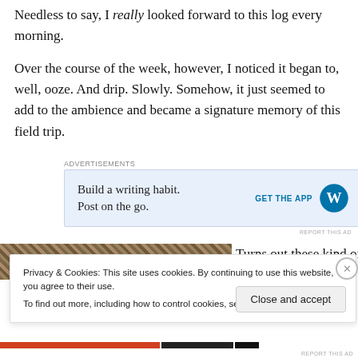Needless to say, I really looked forward to this log every morning.
Over the course of the week, however, I noticed it began to, well, ooze. And drip. Slowly. Somehow, it just seemed to add to the ambience and became a signature memory of this field trip.
[Figure (screenshot): WordPress advertisement banner: 'Build a writing habit. Post on the go.' with GET THE APP button and WordPress logo]
[Figure (photo): Partial image of a natural/rocky texture, partially obscured by cookie consent banner]
Turns out these kind of
Privacy & Cookies: This site uses cookies. By continuing to use this website, you agree to their use. To find out more, including how to control cookies, see here: Cookie Policy
Close and accept